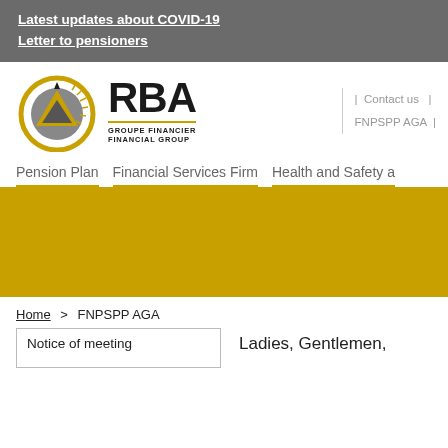Latest updates about COVID-19
Letter to pensioners
[Figure (logo): RBA Groupe Financier Financial Group logo with gold and grey circular triangle emblem]
Contact us | FNPSPP AGA
Pension Plan   Financial Services Firm   Health and Safety a
[Figure (other): Gold/yellow banner strip]
Home > FNPSPP AGA
Notice of meeting
Ladies, Gentlemen,